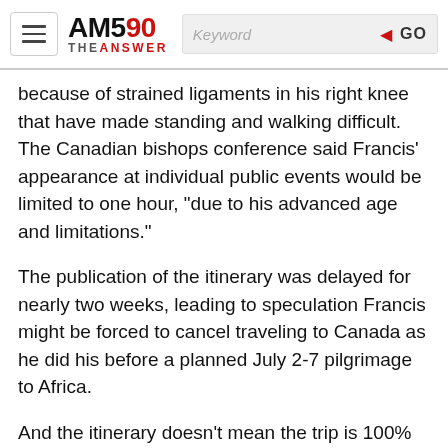AM590 THE ANSWER — navigation header with search bar
because of strained ligaments in his right knee that have made standing and walking difficult. The Canadian bishops conference said Francis' appearance at individual public events would be limited to one hour, “due to his advanced age and limitations.”
The publication of the itinerary was delayed for nearly two weeks, leading to speculation Francis might be forced to cancel traveling to Canada as he did his before a planned July 2-7 pilgrimage to Africa.
And the itinerary doesn't mean the trip is 100% confirmed, since there is now precedent for the Vatican pulling the plug after one was released.
The Vatican published the schedule for Francis' planned trip to Congo and South Sudan on May 28. It announced on